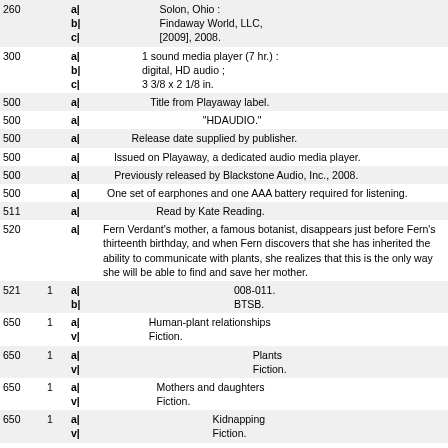| Tag | Ind | Subfield | Value |
| --- | --- | --- | --- |
| 260 |  | a| b| c| | Solon, Ohio : / Findaway World, LLC, / [2009], 2008. |
| 300 |  | a| b| c| | 1 sound media player (7 hr.) : / digital, HD audio ; / 3 3/8 x 2 1/8 in. |
| 500 |  | a| | Title from Playaway label. |
| 500 |  | a| | "HDAUDIO." |
| 500 |  | a| | Release date supplied by publisher. |
| 500 |  | a| | Issued on Playaway, a dedicated audio media player. |
| 500 |  | a| | Previously released by Blackstone Audio, Inc., 2008. |
| 500 |  | a| | One set of earphones and one AAA battery required for listening. |
| 511 |  | a| | Read by Kate Reading. |
| 520 |  | a| | Fern Verdant's mother, a famous botanist, disappears just before Fern's thirteenth birthday, and when Fern discovers that she has inherited the ability to communicate with plants, she realizes that this is the only way she will be able to find and save her mother. |
| 521 | 1 | a| b| | 008-011. / BTSB. |
| 650 | 1 | a| v| | Human-plant relationships / Fiction. |
| 650 | 1 | a| v| | Plants / Fiction. |
| 650 | 1 | a| v| | Mothers and daughters / Fiction. |
| 650 | 1 | a| v| | Kidnapping / Fiction. |